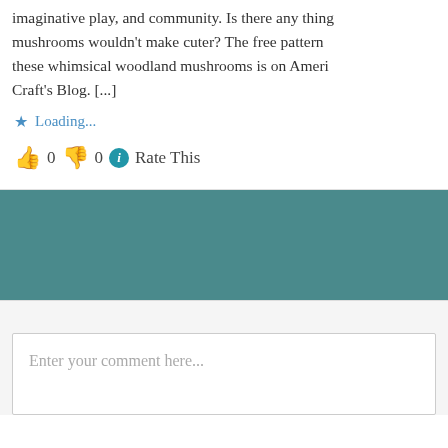imaginative play, and community. Is there any thing mushrooms wouldn't make cuter? The free pattern these whimsical woodland mushrooms is on Ameri Craft's Blog. [...]
★ Loading...
👍 0 👎 0 ℹ Rate This